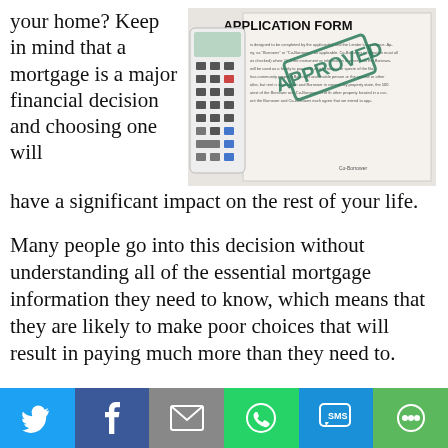your home? Keep in mind that a mortgage is a major financial decision and choosing one will have a significant impact on the rest of your life.
[Figure (photo): A calculator placed on top of a mortgage application form with an 'APPROVED' stamp in green.]
Many people go into this decision without understanding all of the essential mortgage information they need to know, which means that they are likely to make poor choices that will result in paying much more than they need to.
If you want to save yourself from throwing away your